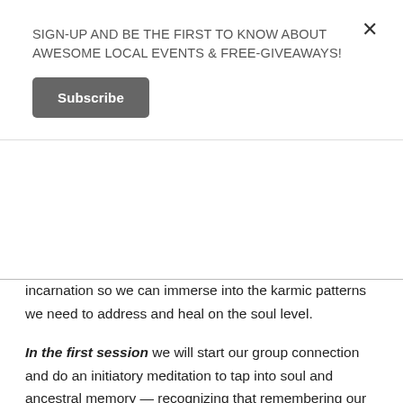SIGN-UP AND BE THE FIRST TO KNOW ABOUT AWESOME LOCAL EVENTS & FREE-GIVEAWAYS!
Subscribe
incarnation so we can immerse into the karmic patterns we need to address and heal on the soul level.
In the first session we will start our group connection and do an initiatory meditation to tap into soul and ancestral memory — recognizing that remembering our extra-sensory gifts is a benefit to humanity and all beings. Sharing and hearing each other's stories is an important part of the process.
In the second session we will energetically release the fear and trauma we inherited from our ancestors so we can reclaim our extra-sensory powers as part of our